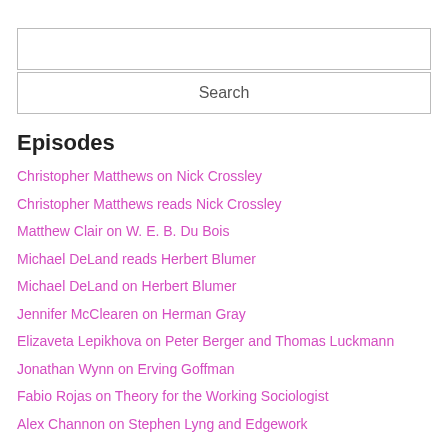[Figure (screenshot): Search input text box]
Search
Episodes
Christopher Matthews on Nick Crossley
Christopher Matthews reads Nick Crossley
Matthew Clair on W. E. B. Du Bois
Michael DeLand reads Herbert Blumer
Michael DeLand on Herbert Blumer
Jennifer McClearen on Herman Gray
Elizaveta Lepikhova on Peter Berger and Thomas Luckmann
Jonathan Wynn on Erving Goffman
Fabio Rojas on Theory for the Working Sociologist
Alex Channon on Stephen Lyng and Edgework